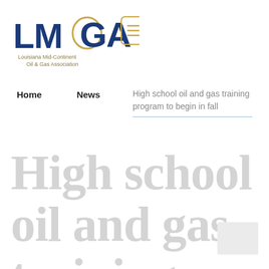[Figure (logo): LMOGA Louisiana Mid-Continent Oil & Gas Association logo with hamburger menu icon]
Home   News   High school oil and gas training program to begin in fall
High school oil and gas training